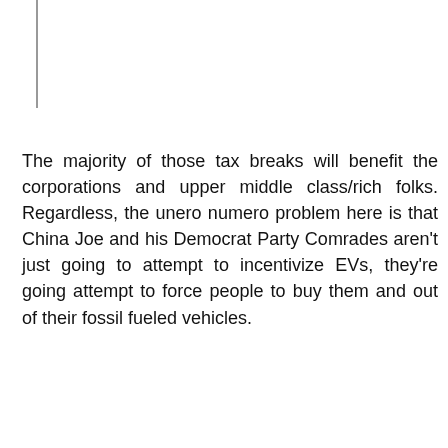The majority of those tax breaks will benefit the corporations and upper middle class/rich folks. Regardless, the unero numero problem here is that China Joe and his Democrat Party Comrades aren't just going to attempt to incentivize EVs, they're going attempt to force people to buy them and out of their fossil fueled vehicles.
[Figure (screenshot): Ad banner with 'READ MORE mgid' branding and a close (X) button, followed by two thumbnail images: left shows Robert Irwin recreating a photo with an alligator, right shows two people who appear to be from Freaks and Geeks cast. Captions: 'Robert Irwin Recreates His' and 'Where Is The Cast Of Freaks And']
Robert Irwin Recreates His
Where Is The Cast Of Freaks And